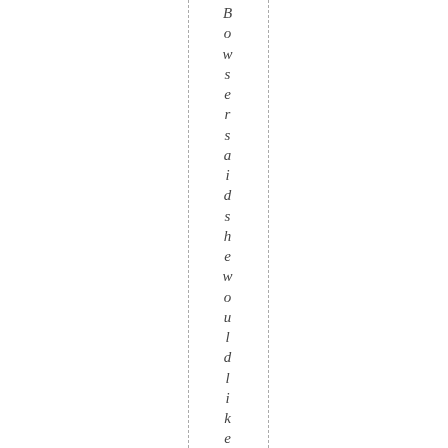Bowser said she would like the